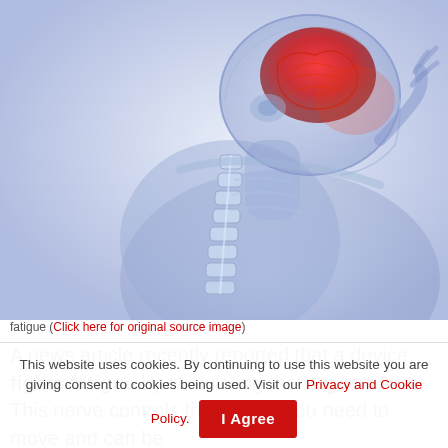[Figure (illustration): X-ray style medical illustration of a human figure with visible spine and skeleton, head tilted with hand raised to head, brain highlighted in red, blue-tinted translucent body, white background.]
fatigue (Click here for original source image)
A news article recently reported that a device fights fatigue by stimulating the vagus nerve. This nerve controls the energy you need to move and can be
This website uses cookies. By continuing to use this website you are giving consent to cookies being used. Visit our Privacy and Cookie Policy.
I Agree